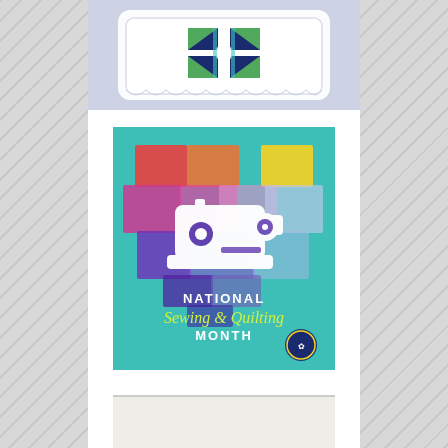[Figure (photo): A white decorative pillow/tray with a quilt block design featuring dark navy blue fabric with green and teal floral pattern, displayed on a light blue-gray background]
[Figure (illustration): National Sewing and Quilting Month graphic: teal background with a colorful geometric heart shape made of overlapping colored rectangles (red, orange, pink, purple, yellow, lavender, blue) with a white sewing machine silhouette in the center. Text reads NATIONAL Sewing & Quilting MONTH with a small badge logo in bottom right corner]
[Figure (photo): Bottom partial image, light beige/cream colored background, partially cut off]